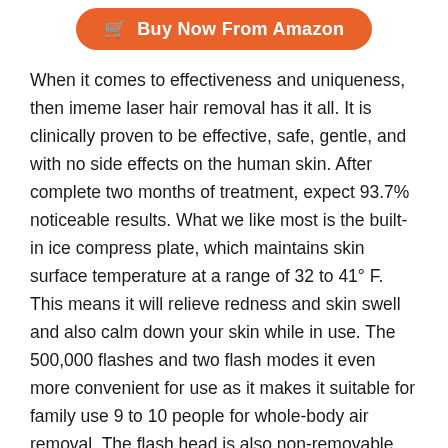[Figure (other): Orange rounded button with cart icon reading 'Buy Now From Amazon']
When it comes to effectiveness and uniqueness, then imeme laser hair removal has it all. It is clinically proven to be effective, safe, gentle, and with no side effects on the human skin. After complete two months of treatment, expect 93.7% noticeable results. What we like most is the built-in ice compress plate, which maintains skin surface temperature at a range of 32 to 41° F. This means it will relieve redness and skin swell and also calm down your skin while in use. The 500,000 flashes and two flash modes it even more convenient for use as it makes it suitable for family use 9 to 10 people for whole-body air removal. The flash head is also non-removable, which minimizes light leakage and loose contact.